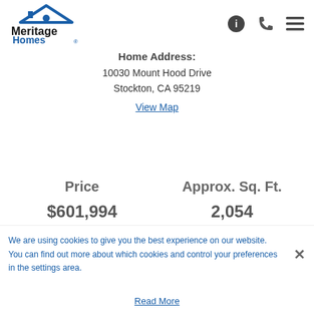[Figure (logo): Meritage Homes logo with house roof icon in dark blue and 'Meritage' in black bold and 'Homes' in blue with registered trademark symbol]
info icon, phone icon, hamburger menu icon
Home Address:
10030 Mount Hood Drive
Stockton, CA 95219
View Map
Price
Approx. Sq. Ft.
$601,994
2,054
We are using cookies to give you the best experience on our website. You can find out more about which cookies and control your preferences in the settings area.
Read More